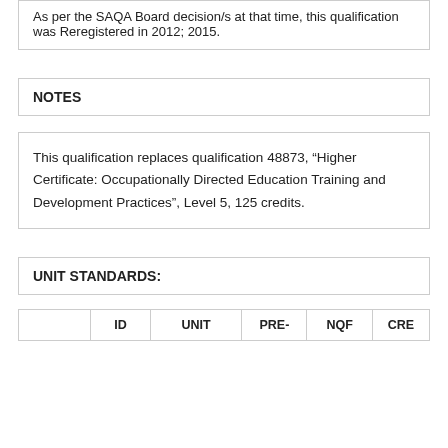As per the SAQA Board decision/s at that time, this qualification was Reregistered in 2012; 2015.
NOTES
This qualification replaces qualification 48873, “Higher Certificate: Occupationally Directed Education Training and Development Practices”, Level 5, 125 credits.
UNIT STANDARDS:
|  | ID | UNIT | PRE- | NQF | CRE |
| --- | --- | --- | --- | --- | --- |